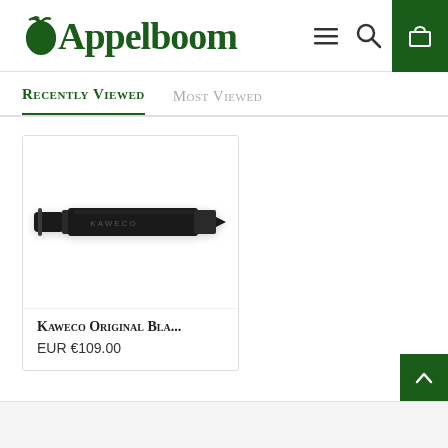Appelboom
Recently Viewed | Most Viewed
[Figure (photo): A Kaweco Original Black fountain pen shown horizontally against a white background]
Kaweco Original Bla...
EUR €109.00